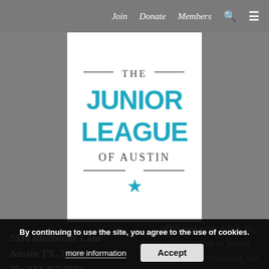Join   Donate   Members
[Figure (logo): The Junior League of Austin logo — horizontal lines flanking 'THE', large teal bold text 'JUNIOR LEAGUE', dark gray 'OF AUSTIN', teal star below]
affiliated with AJLI, the Association of Junior Leagues International, Inc. AJLI's purpose is to add value to its 291 member Leagues in their fulfillment of The Junior League Mission. Learn
5330 Bluffstone Lane
Austin TX, 78759
Ph: 512.467.8982
Fx: 512.454.7518
Contact Us
By continuing to use the site, you agree to the use of cookies.
more information   Accept